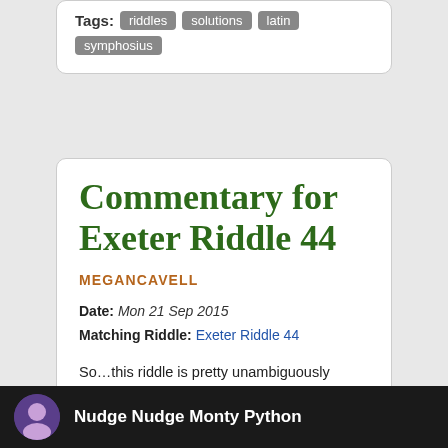Tags: riddles solutions latin symphosius
Commentary for Exeter Riddle 44
MEGANCAVELL
Date: Mon 21 Sep 2015
Matching Riddle: Exeter Riddle 44
So…this riddle is pretty unambiguously raunchy, am I right? Something stiff that hangs under a man's clothing by his thigh? The filling of an equally long hole? All the basics of a nudge-nudge joke are there for even the most sheltered of individuals to catch.
[Figure (screenshot): Dark strip at bottom showing a video thumbnail with Nudge Nudge Monty Python text and a circular avatar image]